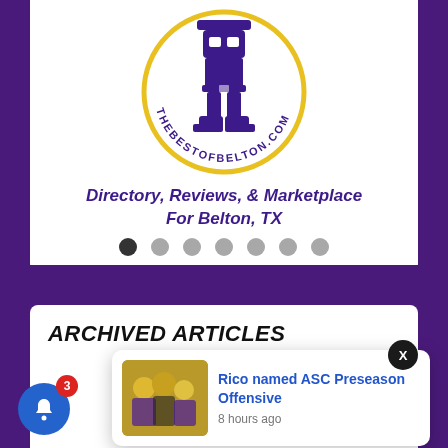[Figure (logo): The Best of Belton circular logo with purple cowboy boots icon and gold ring, text reads THEBESTOFBELTON.COM]
Directory, Reviews, & Marketplace For Belton, TX
[Figure (other): Carousel navigation dots — 7 dots, first one dark/active, rest gray]
ARCHIVED ARTICLES
[Figure (photo): Notification popup showing sports photo with players celebrating, titled Rico named ASC Preseason Offensive, 8 hours ago]